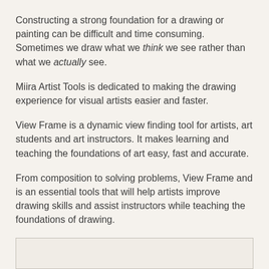Constructing a strong foundation for a drawing or painting can be difficult and time consuming. Sometimes we draw what we think we see rather than what we actually see.
Miira Artist Tools is dedicated to making the drawing experience for visual artists easier and faster.
View Frame is a dynamic view finding tool for artists, art students and art instructors. It makes learning and teaching the foundations of art easy, fast and accurate.
From composition to solving problems, View Frame and is an essential tools that will help artists improve drawing skills and assist instructors while teaching the foundations of drawing.
View Frame is great for...
[Figure (other): Empty bordered box at bottom of page]